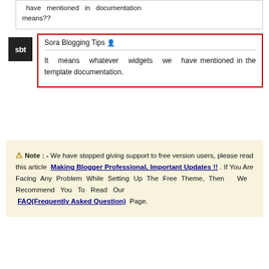have mentioned in documentation means??
Sora Blogging Tips 🔒
It means whatever widgets we have mentioned in the template documentation.
⚠ Note : - We have stopped giving support to free version users, please read this article Making Blogger Professional, Important Updates !! . If You Are Facing Any Problem While Setting Up The Free Theme, Then We Recommend You To Read Our FAQ(Frequently Asked Question) Page.